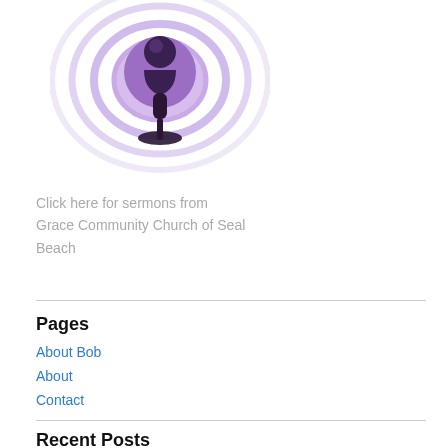[Figure (logo): Apple Podcasts purple microphone/broadcast logo icon]
Click here for sermons from Grace Community Church of Seal Beach
Pages
About Bob
About
Contact
Recent Posts
What happened when I lost 60 pounds